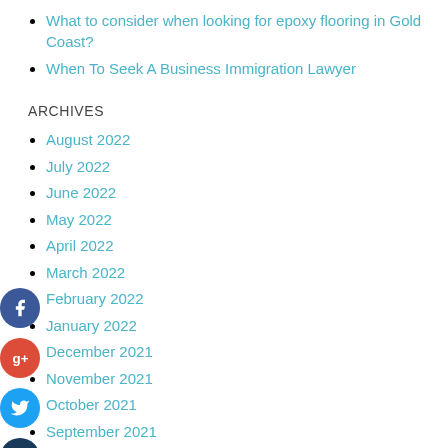What to consider when looking for epoxy flooring in Gold Coast?
When To Seek A Business Immigration Lawyer
ARCHIVES
August 2022
July 2022
June 2022
May 2022
April 2022
March 2022
February 2022
January 2022
December 2021
November 2021
October 2021
September 2021
August 2021
July 2021